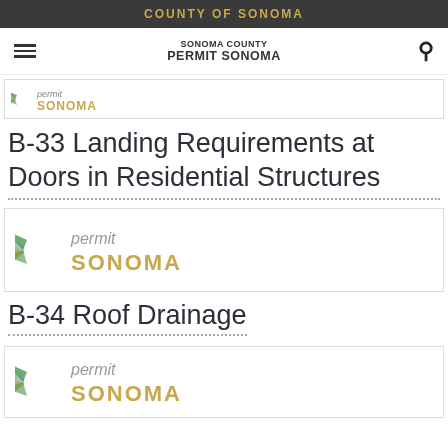COUNTY OF SONOMA
SONOMA COUNTY PERMIT SONOMA
[Figure (logo): Permit Sonoma logo - small strip]
B-33 Landing Requirements at Doors in Residential Structures
[Figure (logo): Permit Sonoma logo - large]
B-34 Roof Drainage
[Figure (logo): Permit Sonoma logo - large bottom]